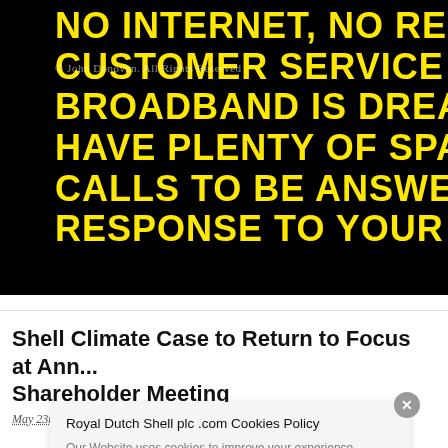[Figure (photo): Black background image with large bold yellow uppercase text reading: 'no internet, no refund, not... CUSTOMER SERVICE ST... BROADBAND IS DREADFUL HAVE PLENTY OF SPARE TIM... CALLS TO BE ANSWERED AN... RESPONSE TO YOUR EMAIL C...']
Shell Climate Case to Return to Focus at Ann... Shareholder Meeting
May 23rd, 2022 by John Donovan.
Royal Dutch Shell plc .com Cookies Policy
Our Website uses cookies to improve your experience. Please visit our Privacy page for more information about cookies and how we use them.